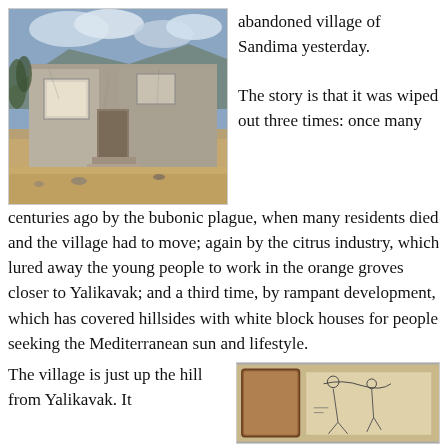[Figure (photo): Photograph of an abandoned ruined stone building with empty window and door frames, cracked walls, set against a hillside with dry grass in the foreground and cloudy sky.]
abandoned village of Sandima yesterday.

The story is that it was wiped out three times: once many centuries ago by the bubonic plague, when many residents died and the village had to move; again by the citrus industry, which lured away the young people to work in the orange groves closer to Yalikavak; and a third time, by rampant development, which has covered hillsides with white block houses for people seeking the Mediterranean sun and lifestyle.
The village is just up the hill from Yalikavak. It
[Figure (photo): Partial photograph of what appears to be a framed artwork or sign with sketched figures.]